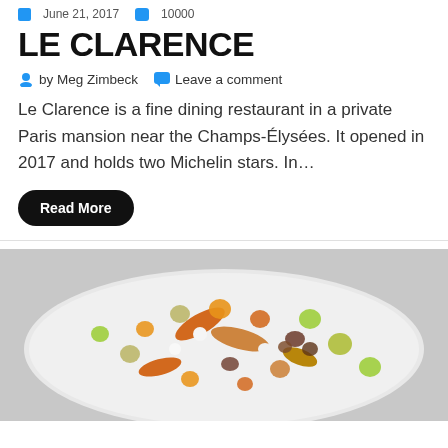June 21, 2017  |  10000
LE CLARENCE
by Meg Zimbeck   Leave a comment
Le Clarence is a fine dining restaurant in a private Paris mansion near the Champs-Élysées. It opened in 2017 and holds two Michelin stars. In…
Read More
[Figure (photo): A fine dining plated dish on a white scalloped plate featuring glazed carrot pieces, yellow-green gel drops, white cream dots, and crumbled brown elements arranged artfully.]